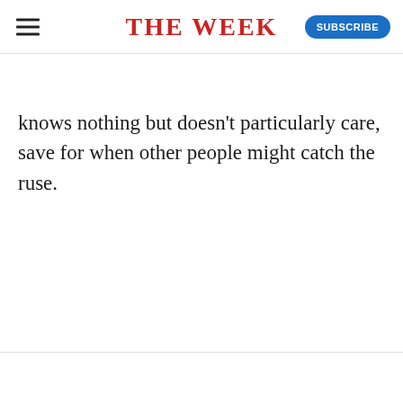THE WEEK
knows nothing but doesn't particularly care, save for when other people might catch the ruse.